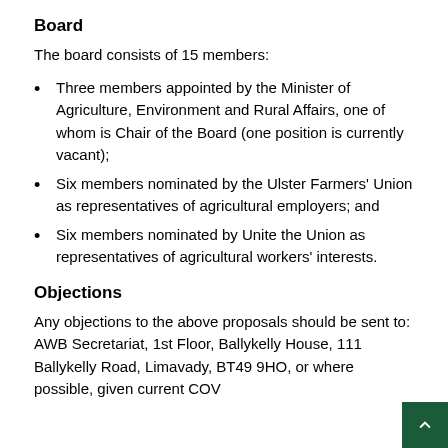Board
The board consists of 15 members:
Three members appointed by the Minister of Agriculture, Environment and Rural Affairs, one of whom is Chair of the Board (one position is currently vacant);
Six members nominated by the Ulster Farmers' Union as representatives of agricultural employers; and
Six members nominated by Unite the Union as representatives of agricultural workers' interests.
Objections
Any objections to the above proposals should be sent to: AWB Secretariat, 1st Floor, Ballykelly House, 111 Ballykelly Road, Limavady, BT49 9HO, or where possible, given current COV